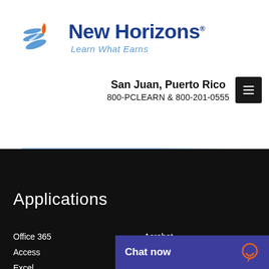[Figure (logo): New Horizons logo with stylized wing/flag icon in blue and orange, company name 'New Horizons' in dark blue bold text, tagline 'Learn What Earns' in light blue italic]
San Juan, Puerto Rico
800-PCLEARN  & 800-201-0555
Applications
Office 365
Access
Excel
Acrobat
Chat now